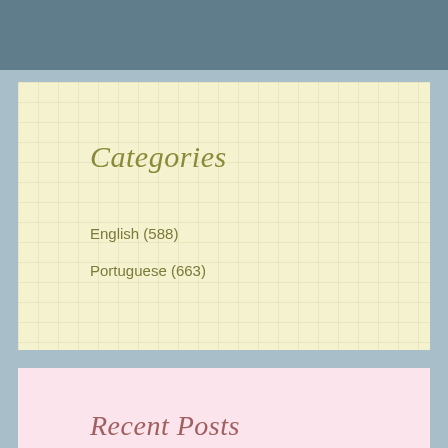Categories
English (588)
Portuguese (663)
Recent Posts
O Limerick
Aug 20, 2022